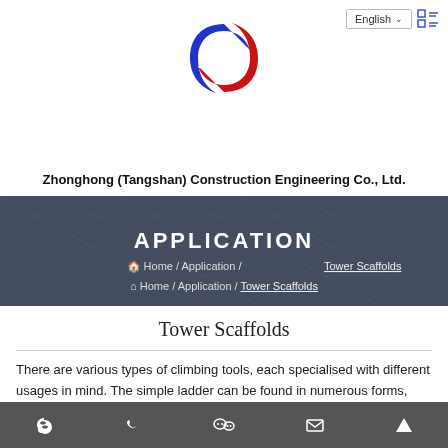[Figure (logo): Zhonghong company logo — stylized ZH letters in blue and red within a circular shape]
Zhonghong (Tangshan) Construction Engineering Co., Ltd.
[Figure (photo): Dark scaffolding/construction site background image with APPLICATION heading and breadcrumb navigation: Home / Application / Tower Scaffolds]
Tower Scaffolds
There are various types of climbing tools, each specialised with different usages in mind. The simple ladder can be found in numerous forms, and you'd be difficult pressed to find any tradesperson without some some kind